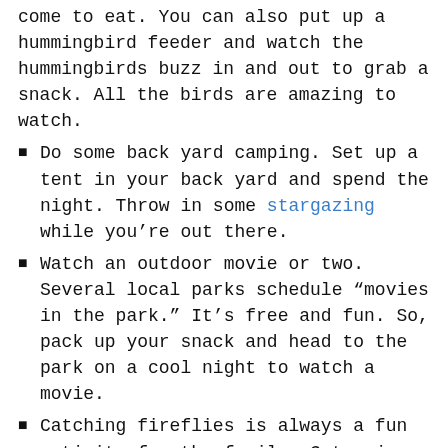come to eat. You can also put up a hummingbird feeder and watch the hummingbirds buzz in and out to grab a snack. All the birds are amazing to watch.
Do some back yard camping. Set up a tent in your back yard and spend the night. Throw in some stargazing while you're out there.
Watch an outdoor movie or two. Several local parks schedule “movies in the park.” It’s free and fun. So, pack up your snack and head to the park on a cool night to watch a movie.
Catching fireflies is always a fun activity for the family. Get a jar and poke some “breathing holes” in the lid. Put your fireflies in the jar and watch them light up. Let them go before daybreak so you can catch them another time.
Go for a family bike ride. Hit the Rails to